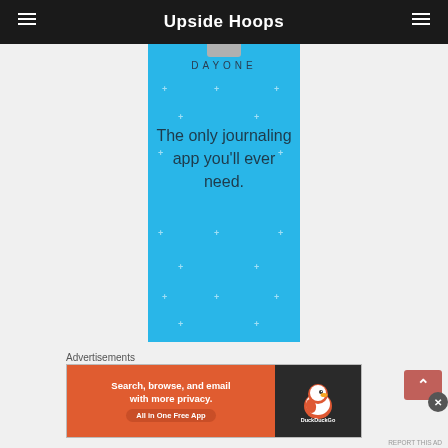Upside Hoops
[Figure (illustration): DayOne journaling app advertisement on sky blue background with plus/star decorations. Shows 'DAY ONE' logo at top and text 'The only journaling app you'll ever need.']
Advertisements
[Figure (illustration): DuckDuckGo advertisement banner: 'Search, browse, and email with more privacy. All in One Free App' on orange background with DuckDuckGo logo on dark right side.]